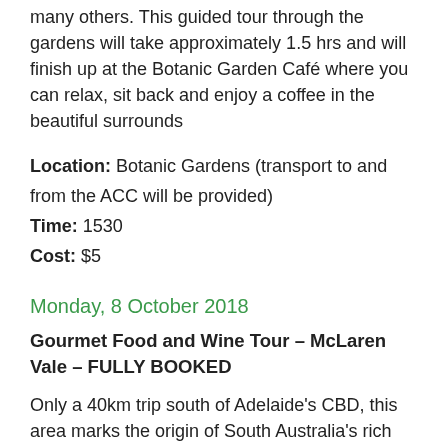many others. This guided tour through the gardens will take approximately 1.5 hrs and will finish up at the Botanic Garden Café where you can relax, sit back and enjoy a coffee in the beautiful surrounds
Location: Botanic Gardens (transport to and from the ACC will be provided)
Time: 1530
Cost: $5
Monday, 8 October 2018
Gourmet Food and Wine Tour – McLaren Vale – FULLY BOOKED
Only a 40km trip south of Adelaide's CBD, this area marks the origin of South Australia's rich winemaking history. The region's Mediterranean climate lends itself to production of exquisite red and whites. Historically known for shiraz, grenache and cabernet, emerging